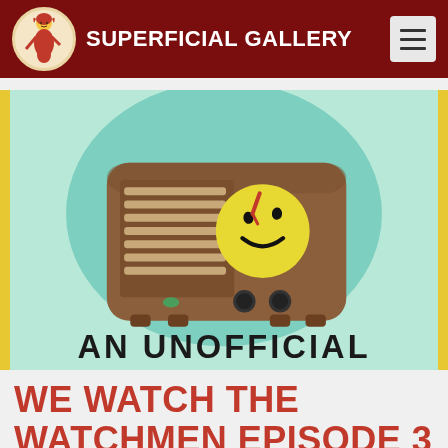SUPERFICIAL GALLERY
[Figure (illustration): Retro wooden radio with a yellow smiley face sticker (Watchmen symbol) on a mint green circular background, with the text AN UNOFFICIAL below]
WE WATCH THE WATCHMEN EPISODE 3 – SHE WAS KILLED BY SPACE